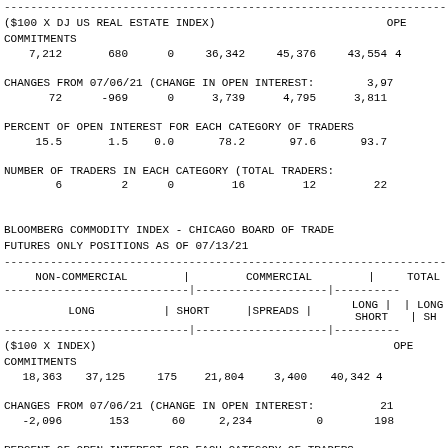($100 X DJ US REAL ESTATE INDEX)   OPEN COMMITMENTS
| 7,212 | 680 | 0 | 36,342 | 45,376 | 43,554 | 4... |
CHANGES FROM 07/06/21 (CHANGE IN OPEN INTEREST: 3,97
| 72 | -969 | 0 | 3,739 | 4,795 | 3,811 |
PERCENT OF OPEN INTEREST FOR EACH CATEGORY OF TRADERS
| 15.5 | 1.5 | 0.0 | 78.2 | 97.6 | 93.7 |
NUMBER OF TRADERS IN EACH CATEGORY (TOTAL TRADERS:
| 6 | 2 | 0 | 16 | 12 | 22 |
BLOOMBERG COMMODITY INDEX - CHICAGO BOARD OF TRADE FUTURES ONLY POSITIONS AS OF 07/13/21
| NON-COMMERCIAL | COMMERCIAL | TOTAL |
| --- | --- | --- |
| LONG | SHORT | SPREADS | LONG | SHORT | LONG | SH... |
($100 X INDEX)   OPEN COMMITMENTS
| 18,363 | 37,125 | 175 | 21,804 | 3,400 | 40,342 | 4... |
CHANGES FROM 07/06/21 (CHANGE IN OPEN INTEREST: 21
| -2,096 | 153 | 60 | 2,234 | 0 | 198 |
PERCENT OF OPEN INTEREST FOR EACH CATEGORY OF TRADERS
| 45.0... | 91.0... | 0.4... | 53.4... | 8.3... | 99.0... |